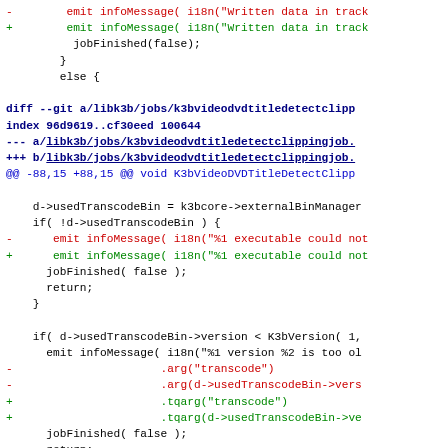Code diff showing changes to k3bvideodvdtitledetectclippingjob source file
[Figure (screenshot): Source code diff showing removed and added lines in a C++ file related to k3b video DVD title detect clipping job. Shows changes from .arg() to .tqarg() method calls.]